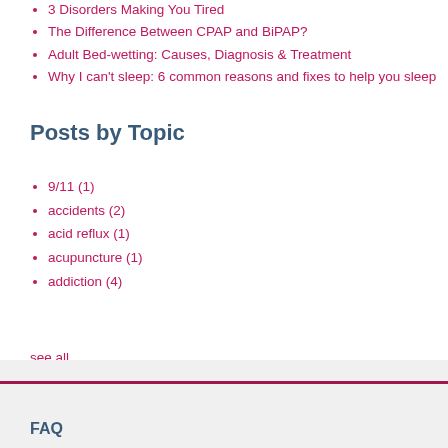3 Disorders Making You Tired
The Difference Between CPAP and BiPAP?
Adult Bed-wetting: Causes, Diagnosis & Treatment
Why I can't sleep: 6 common reasons and fixes to help you sleep
Posts by Topic
9/11 (1)
accidents (2)
acid reflux (1)
acupuncture (1)
addiction (4)
see all
FAQ